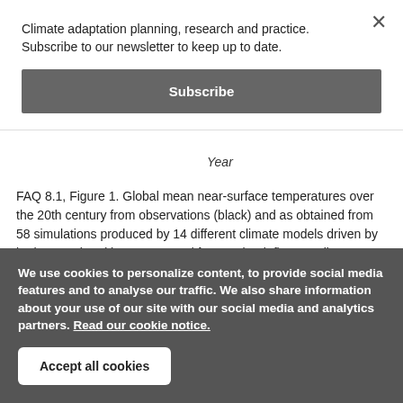Climate adaptation planning, research and practice. Subscribe to our newsletter to keep up to date.
Subscribe
Year
FAQ 8.1, Figure 1. Global mean near-surface temperatures over the 20th century from observations (black) and as obtained from 58 simulations produced by 14 different climate models driven by both natural and human-caused factors that influence climate (yellow).
We use cookies to personalize content, to provide social media features and to analyse our traffic. We also share information about your use of our site with our social media and analytics partners. Read our cookie notice.
Accept all cookies